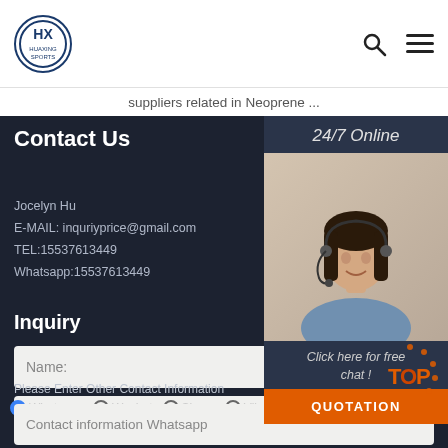HUAXING SPORTS
suppliers related in Neoprene ...
Contact Us
24/7 Online
[Figure (photo): Woman with headset, customer service representative]
Click here for free chat !
QUOTATION
Jocelyn Hu
E-MAIL: inquriyprice@gmail.com
TEL:15537613449
Whatsapp:15537613449
Inquiry
Name:
Email:
Please Enter Other Contact Information
Whatsapp   Wechat   Skype   Viber
Contact information Whatsapp